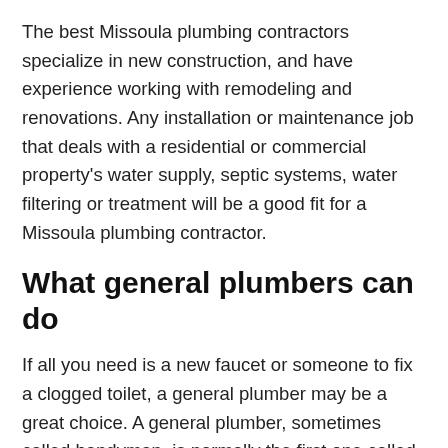The best Missoula plumbing contractors specialize in new construction, and have experience working with remodeling and renovations. Any installation or maintenance job that deals with a residential or commercial property's water supply, septic systems, water filtering or treatment will be a good fit for a Missoula plumbing contractor.
What general plumbers can do
If all you need is a new faucet or someone to fix a clogged toilet, a general plumber may be a great choice. A general plumber, sometimes called handyman, is normally the first one called to clear pipes and fix small plumbing problems. Often, general plumbers have a smaller range of capabilities than a legitimate plumbing contractor. Plumbers by trade may or may not work for fully insured plumbing companies. Some plumbers are independent, or work as a plumber as a side job. Some general plumbers are experts with broad